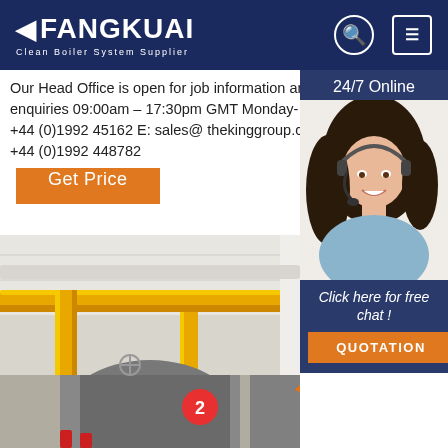FANGKUAI Clean Boiler System Supplier
Our Head Office is open for job information and general enquiries 09:00am – 17:30pm GMT Monday- Friday Tel: +44 (0)1992 45162 E: sales@ thekinggroup.co.u k Fax: +44 (0)1992 448782
Get Price
[Figure (photo): Customer service operator woman with headset smiling, used for 24/7 online chat widget]
24/7 Online
Click here for free chat !
QUOTATION
[Figure (photo): Industrial boiler room with yellow gas pipes running along ceiling and large industrial boiler units with TOP branding visible]